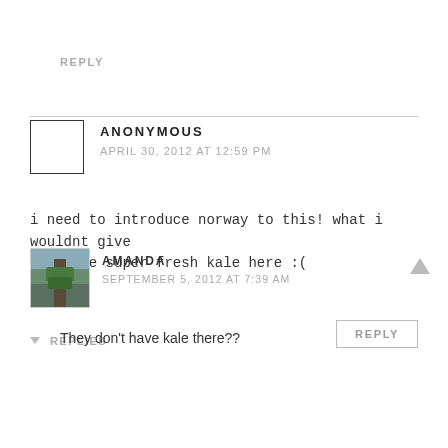REPLY
ANONYMOUS
APRIL 30, 2012 AT 12:59 PM
i need to introduce norway to this! what i wouldnt give for some super fresh kale here :(
REPLY
▼ REPLIES
AMANDA
SEPTEMBER 5, 2012 AT 7:39 AM
They don't have kale there??